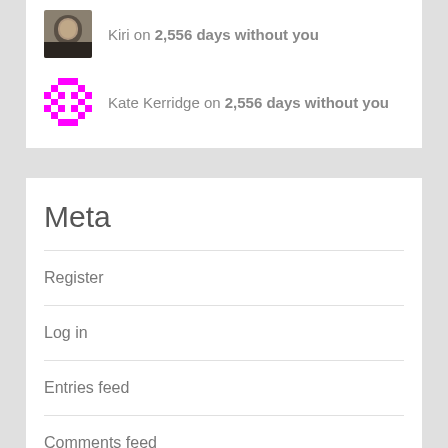Kiri on 2,556 days without you
Kate Kerridge on 2,556 days without you
Meta
Register
Log in
Entries feed
Comments feed
WordPress.com